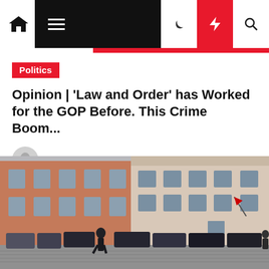Navigation bar with home icon, menu, and controls
Politics
Opinion | 'Law and Order' has Worked for the GOP Before. This Crime Boom...
Katie R. Ochoa  1 year ago
[Figure (photo): Street-level photo of European-style buildings (terracotta and pale pink facades with multiple windows) and parked cars, with a figure walking in the foreground on cobblestones]